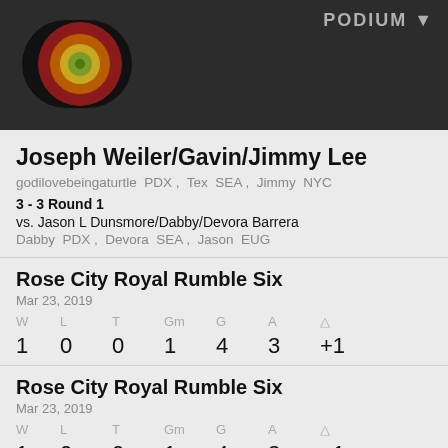PODIUM ▼
[Figure (illustration): Bullseye / target circle icon with concentric rings in dark red, yellow-green, and green on a dark background]
Joseph Weiler/Gavin/Jimmy Lee
godilovebeingaturtle PDX , Tex SEA , Jimmy NYC
3 - 3 Round 1
vs. Jason L Dunsmore/Dabby/Devora Barrera
Dabby PDX , Devora SEA , Jason EUG
Rose City Royal Rumble Six
Mar 23, 2019
| W | L | T | Gm | G | A | △ |
| --- | --- | --- | --- | --- | --- | --- |
| 1 | 0 | 0 | 1 | 4 | 3 | +1 |
Rose City Royal Rumble Six
Mar 23, 2019
| W | L | T | Gm | G | A | △ |
| --- | --- | --- | --- | --- | --- | --- |
| 1 | 0 | 0 | 1 | 4 | 3 | +1 |